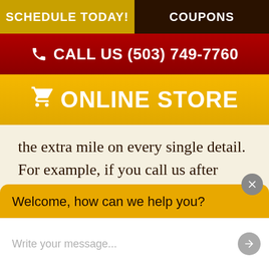SCHEDULE TODAY! | COUPONS
CALL US (503) 749-7760
ONLINE STORE
the extra mile on every single detail. For example, if you call us after hours, you speak with a Woodward Heating representative, not a call
Welcome, how can we help you?
Write your message...
that we charge no more than